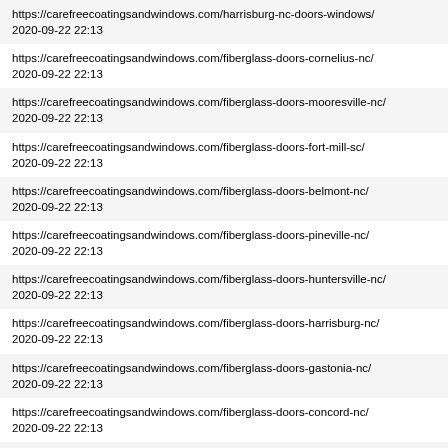https://carefreecoatingsandwindows.com/harrisburg-nc-doors-windows/
2020-09-22 22:13
https://carefreecoatingsandwindows.com/fiberglass-doors-cornelius-nc/
2020-09-22 22:13
https://carefreecoatingsandwindows.com/fiberglass-doors-mooresville-nc/
2020-09-22 22:13
https://carefreecoatingsandwindows.com/fiberglass-doors-fort-mill-sc/
2020-09-22 22:13
https://carefreecoatingsandwindows.com/fiberglass-doors-belmont-nc/
2020-09-22 22:13
https://carefreecoatingsandwindows.com/fiberglass-doors-pineville-nc/
2020-09-22 22:13
https://carefreecoatingsandwindows.com/fiberglass-doors-huntersville-nc/
2020-09-22 22:13
https://carefreecoatingsandwindows.com/fiberglass-doors-harrisburg-nc/
2020-09-22 22:13
https://carefreecoatingsandwindows.com/fiberglass-doors-gastonia-nc/
2020-09-22 22:13
https://carefreecoatingsandwindows.com/fiberglass-doors-concord-nc/
2020-09-22 22:13
https://carefreecoatingsandwindows.com/fiberglass-doors-charlotte-nc/
2020-09-22 22:13
https://carefreecoatingsandwindows.com/double-hung-windows-cornelius-nc/
2020-09-22 22:13
https://carefreecoatingsandwindows.com/double-hung-windows-mooresville-nc/